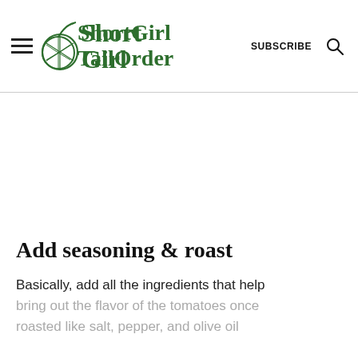Short Girl Tall Order
Add seasoning & roast
Basically, add all the ingredients that help bring out the flavor of the tomatoes once roasted like salt, pepper, and olive oil